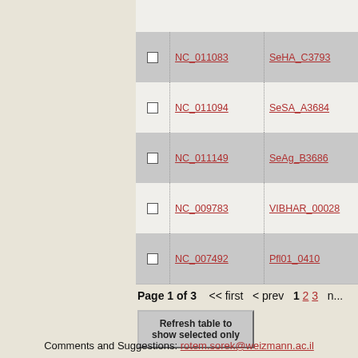|  | Accession | Gene | Description |
| --- | --- | --- | --- |
| ☐ | NC_011083 | SeHA_C3793 | shikimate kinase I |
| ☐ | NC_011094 | SeSA_A3684 | shikimate kinase I |
| ☐ | NC_011149 | SeAg_B3686 | shikimate kinase I |
| ☐ | NC_009783 | VIBHAR_00028 | shikimate kinase I |
| ☐ | NC_007492 | Pfl01_0410 | shikimate kinase I |
Page 1 of 3   << first  < prev  1  2  3  n...
Refresh table to show selected only
Comments and Suggestions: rotem.sorek@weizmann.ac.il